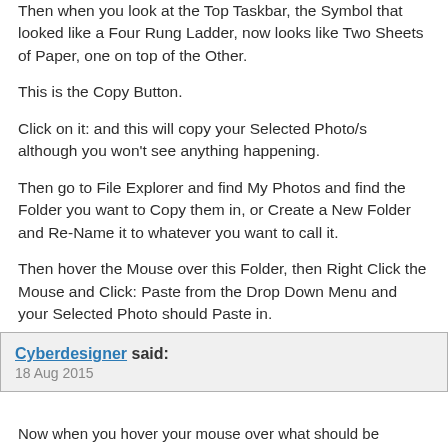Then when you look at the Top Taskbar, the Symbol that looked like a Four Rung Ladder, now looks like Two Sheets of Paper, one on top of the Other.
This is the Copy Button.
Click on it: and this will copy your Selected Photo/s although you won't see anything happening.
Then go to File Explorer and find My Photos and find the Folder you want to Copy them in, or Create a New Folder and Re-Name it to whatever you want to call it.
Then hover the Mouse over this Folder, then Right Click the Mouse and Click: Paste from the Drop Down Menu and your Selected Photo should Paste in.
Just do one photo to Start with, till you get the hang of what you are doing.
Cyberdesigner said:
18 Aug 2015
Now when you hover your mouse over what should be